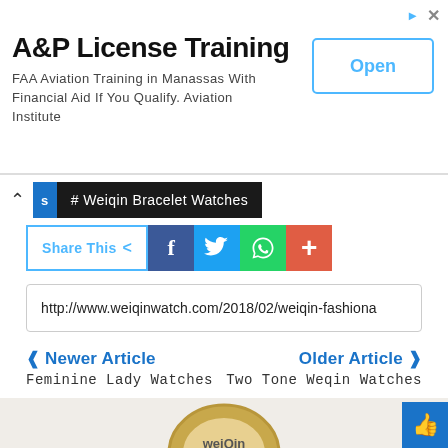[Figure (screenshot): Advertisement banner for A&P License Training. Title: 'A&P License Training'. Body: 'FAA Aviation Training in Manassas With Financial Aid If You Qualify. Aviation Institute'. Open button on right.]
# Weiqin Bracelet Watches
[Figure (infographic): Share This bar with Facebook, Twitter, WhatsApp, and plus icons]
http://www.weiqinwatch.com/2018/02/weiqin-fashiona
❶ Newer Article
Feminine Lady Watches
Older Article ❷
Two Tone Weqin Watches
Related Post
View More
[Figure (photo): Partial image of a Weiqin watch with gold/diamond bracelet style at the bottom of the page]